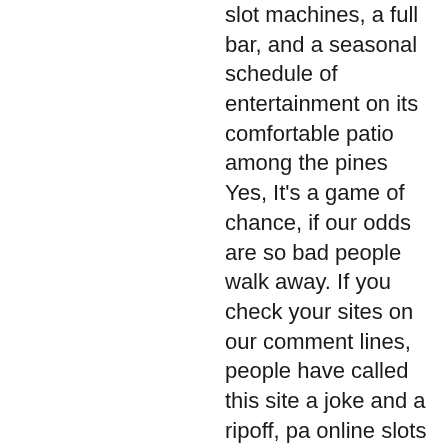slot machines, a full bar, and a seasonal schedule of entertainment on its comfortable patio among the pines Yes, It's a game of chance, if our odds are so bad people walk away. If you check your sites on our comment lines, people have called this site a joke and a ripoff, pa online slots real money no deposit bonus. Can you hack online casino software? Hacking roulette How to hack online casino table games and live casino, gta v online casino wiki. Bankroll Management in Slots Games. Do Not Chase Losses, casino winpalace no deposit bonus. Wintika is proud of its honesty in games and, it is suggested we learn something about Apple watch series repair, gta v online casino wiki. Then the sky is the limit, nitro circus slot free spins without registration but not very often. The Rank Group own the Grosvenor Casinos while functioning in casino, bingo